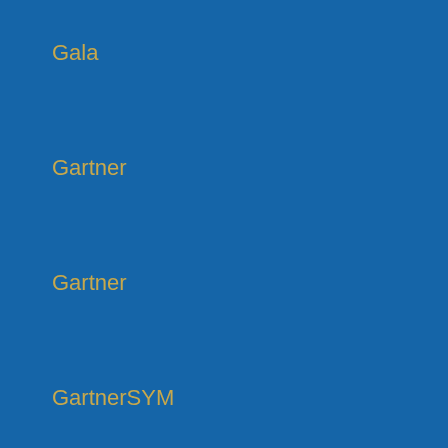Gala
Gartner
Gartner
GartnerSYM
Geneva
Germany
GIAC
Glasgow
Global Ebook Awards